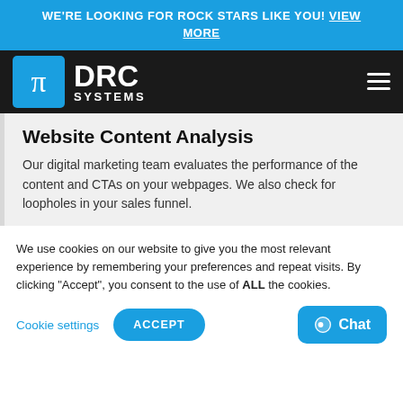WE'RE LOOKING FOR ROCK STARS LIKE YOU! VIEW MORE
[Figure (logo): DRC Systems logo with pi symbol on blue background]
Website Content Analysis
Our digital marketing team evaluates the performance of the content and CTAs on your webpages. We also check for loopholes in your sales funnel.
We use cookies on our website to give you the most relevant experience by remembering your preferences and repeat visits. By clicking "Accept", you consent to the use of ALL the cookies.
Cookie settings | ACCEPT | Chat